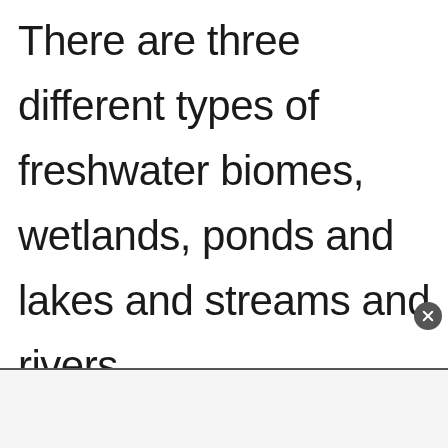There are three different types of freshwater biomes, wetlands, ponds and lakes and streams and rivers.